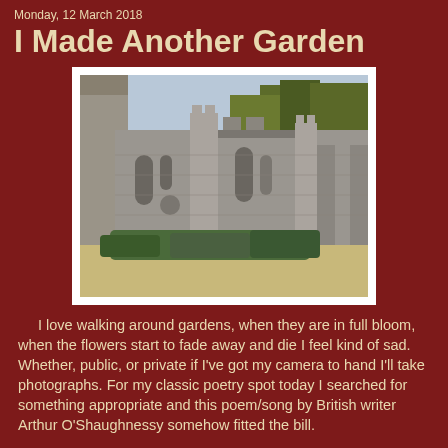Monday, 12 March 2018
I Made Another Garden
[Figure (photo): Photograph of a castle-like stone garden wall with battlements, pilasters, and arched recesses, with shrubs and a path at the base and trees in the background]
I love walking around gardens, when they are in full bloom, when the flowers start to fade away and die I feel kind of sad. Whether, public, or private if I've got my camera to hand I'll take photographs. For my classic poetry spot today I searched for something appropriate and this poem/song by British writer Arthur O'Shaughnessy somehow fitted the bill.